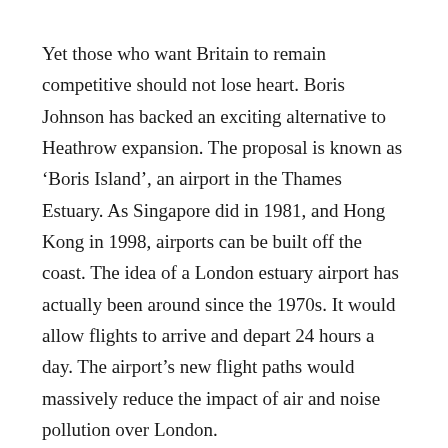Yet those who want Britain to remain competitive should not lose heart. Boris Johnson has backed an exciting alternative to Heathrow expansion. The proposal is known as 'Boris Island', an airport in the Thames Estuary. As Singapore did in 1981, and Hong Kong in 1998, airports can be built off the coast. The idea of a London estuary airport has actually been around since the 1970s. It would allow flights to arrive and depart 24 hours a day. The airport's new flight paths would massively reduce the impact of air and noise pollution over London.
Admittedly, there will be considerable upheaval involved in moving London's main airport to a new location. Further, a superfast train line will be needed to connect the new airport with central London. But other major cities have managed to achieve this in the recent past, notably Athens in 2001 and